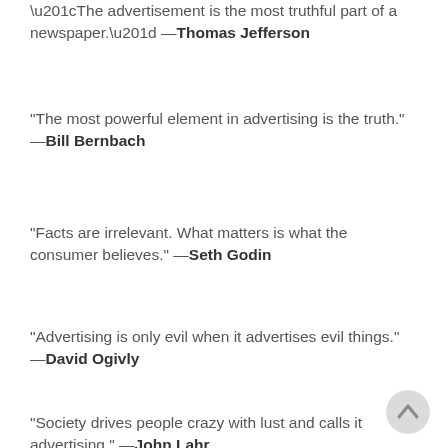“The advertisement is the most truthful part of a newspaper.” —Thomas Jefferson
“The most powerful element in advertising is the truth.” —Bill Bernbach
“Facts are irrelevant. What matters is what the consumer believes.” —Seth Godin
“Advertising is only evil when it advertises evil things.” —David Ogivly
“Society drives people crazy with lust and calls it advertising.” —John Lahr